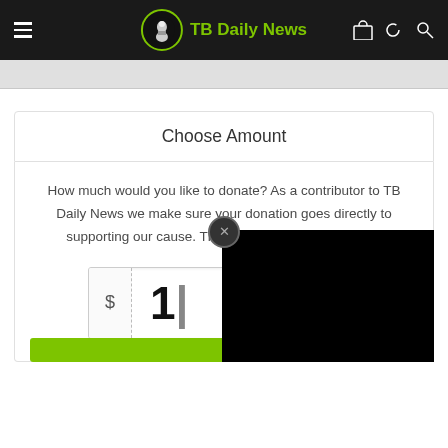TB Daily News
Choose Amount
How much would you like to donate? As a contributor to TB Daily News we make sure your donation goes directly to supporting our cause. Thank you for your generosity!
$ 10